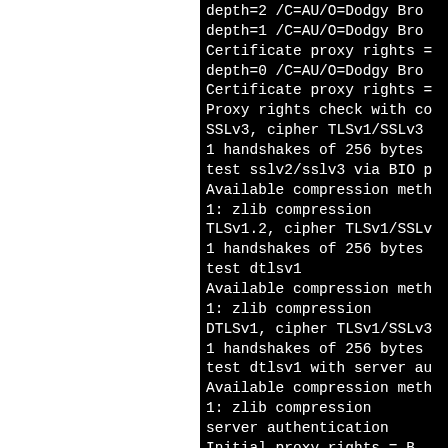[Figure (screenshot): Terminal/console output showing SSL/TLS handshake test results with certificate depth info, compression methods, cipher suites, and proxy rights checks. White blank area on left side, black terminal on right side.]